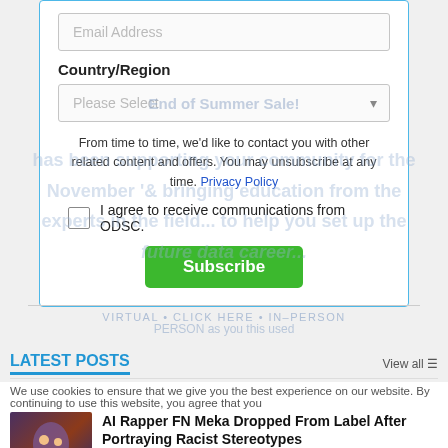[Figure (screenshot): Email address input field (form element) with placeholder text 'Email Address']
Country/Region
[Figure (screenshot): Dropdown select box with placeholder 'Please Select' and watermark text 'End of Summer Sale!']
From time to time, we'd like to contact you with other related content and offers. You may unsubscribe at any time. Privacy Policy
I agree to receive communications from ODSC.
[Figure (screenshot): Green Subscribe button]
VIRTUAL • CLICK HERE • IN-PERSON
LATEST POSTS
View all
We use cookies to ensure that we give you the best experience on our website. By continuing to use this website, you agree that you are happy with it.
[Figure (photo): AI rapper FN Meka image thumbnail]
AI Rapper FN Meka Dropped From Label After Portraying Racist Stereotypes
posted by ODSC TEAM
Aug 24, 2022